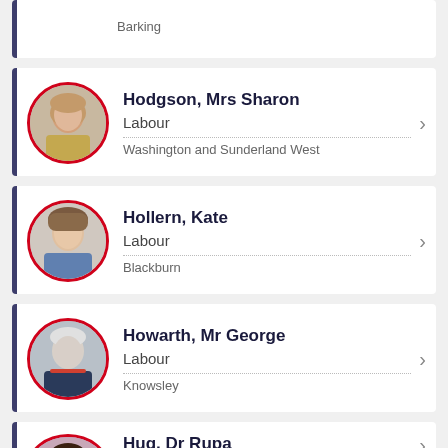Barking (partial card)
Hodgson, Mrs Sharon — Labour — Washington and Sunderland West
Hollern, Kate — Labour — Blackburn
Howarth, Mr George — Labour — Knowsley
Huq, Dr Rupa (partial card)